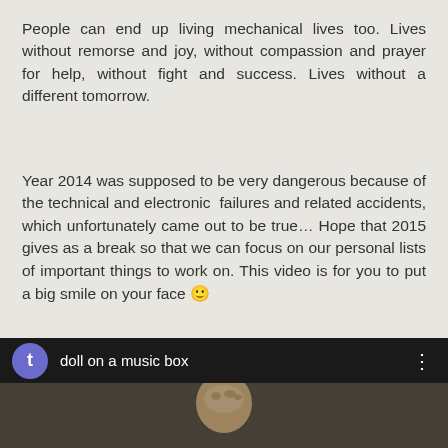People can end up living mechanical lives too. Lives without remorse and joy, without compassion and prayer for help, without fight and success. Lives without a different tomorrow.
Year 2014 was supposed to be very dangerous because of the technical and electronic  failures and related accidents, which unfortunately came out to be true… Hope that 2015 gives as a break so that we can focus on our personal lists of important things to work on. This video is for you to put a big smile on your face 🙂
Happy New 2015!
[Figure (screenshot): Video player bar showing a YouTube-style video with avatar circle with letter 't', title 'doll on a music box', three-dot menu, and a thumbnail showing a woman's face]